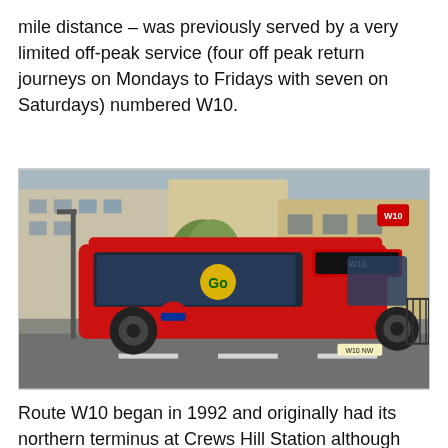mile distance – was previously served by a very limited off-peak service (four off peak return journeys on Mondays to Fridays with seven on Saturdays) numbered W10.
[Figure (photo): A red London bus (Route W10) parked on a road, with buildings and trees visible in the background. The bus displays 'Go' branding and the route number W10 on its destination display.]
Route W10 began in 1992 and originally had its northern terminus at Crews Hill Station although